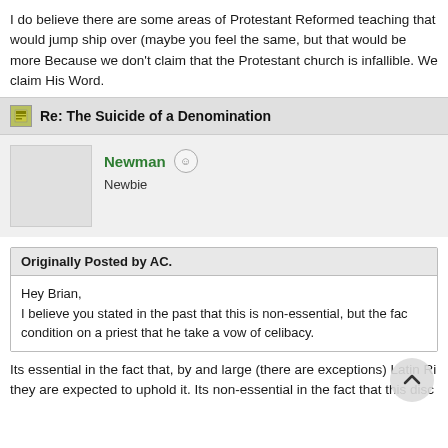I do believe there are some areas of Protestant Reformed teaching that would jump ship over (maybe you feel the same, but that would be more Because we don't claim that the Protestant church is infallible. We claim His Word.
Re: The Suicide of a Denomination
Newman  Newbie
Originally Posted by AC.
Hey Brian,
I believe you stated in the past that this is non-essential, but the fac condition on a priest that he take a vow of celibacy.
Its essential in the fact that, by and large (there are exceptions) Latin Ri they are expected to uphold it. Its non-essential in the fact that this disc